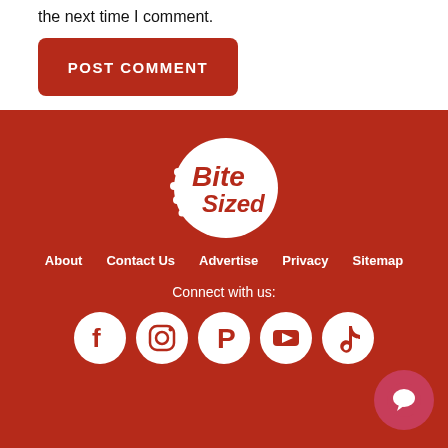the next time I comment.
POST COMMENT
[Figure (logo): Bite Sized logo - white text on red circular background]
About
Contact Us
Advertise
Privacy
Sitemap
Connect with us:
[Figure (illustration): Social media icons: Facebook, Instagram, Pinterest, YouTube, TikTok]